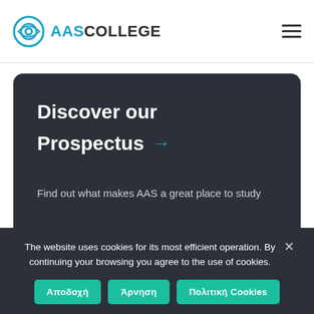[Figure (logo): AAS College logo with eye icon and text 'AASCOLLEGE']
Discover our Prospectus →
Find out what makes AAS a great place to study
The website uses cookies for its most efficient operation. By continuing your browsing you agree to the use of cookies.
Αποδοχή | Άρνηση | Πολιτική Cookies